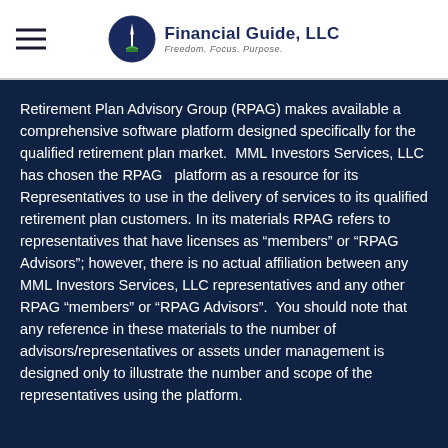Financial Guide, LLC — Freedom. Focus. Purpose.
Retirement Plan Advisory Group (RPAG) makes available a comprehensive software platform designed specifically for the qualified retirement plan market.  MML Investors Services, LLC has chosen the RPAG   platform as a resource for its Representatives to use in the delivery of services to its qualified retirement plan customers. In its materials RPAG refers to representatives that have licenses as “members” or “RPAG Advisors”; however, there is no actual affiliation between any MML Investors Services, LLC representatives and any other RPAG “members” or “RPAG Advisors”.  You should note that any reference in these materials to the number of advisors/representatives or assets under management is designed only to illustrate the number and scope of the representatives using the platform.